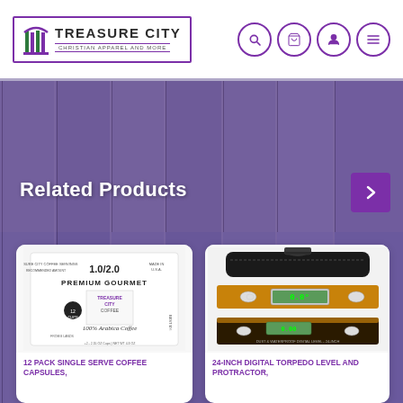Treasure City - Christian Apparel and More
Related Products
[Figure (photo): Product image: 12 Pack Single Serve Coffee Capsules packaging label showing 1.0/2.0 coffee cups, Premium Gourmet, Treasure City Coffee, 100% Arabica Coffee]
12 PACK SINGLE SERVE COFFEE CAPSULES,
[Figure (photo): Product image: 24-Inch Digital Torpedo Level and Protractor showing tool in carrying case and two level views]
24-INCH DIGITAL TORPEDO LEVEL AND PROTRACTOR,